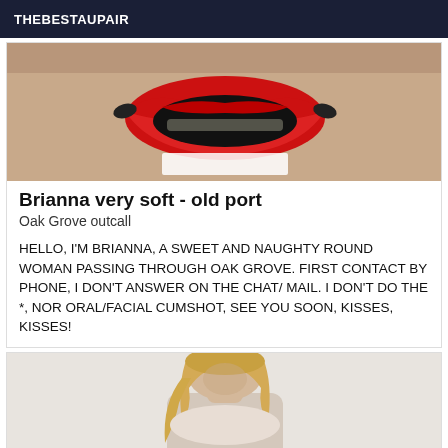THEBESTAUPAIR
[Figure (photo): Close-up photo with red lips graphic/illustration overlay on skin-toned background]
Brianna very soft - old port
Oak Grove outcall
HELLO, I'M BRIANNA, A SWEET AND NAUGHTY ROUND WOMAN PASSING THROUGH OAK GROVE. FIRST CONTACT BY PHONE, I DON'T ANSWER ON THE CHAT/ MAIL. I DON'T DO THE *, NOR ORAL/FACIAL CUMSHOT, SEE YOU SOON, KISSES, KISSES!
[Figure (photo): Blonde woman with long hair looking downward, against a light/white background]